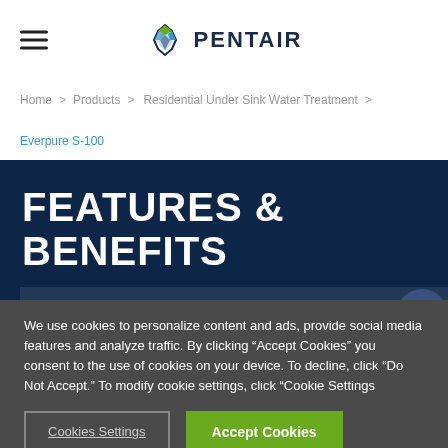PENTAIR
Home > Products > Residential Under Sink Water Treatment > Everpure S-100
FEATURES & BENEFITS
Exclusive precoat technology
We use cookies to personalize content and ads, provide social media features and analyze traffic. By clicking “Accept Cookies” you consent to the use of cookies on your device. To decline, click “Do Not Accept.” To modify cookie settings, click “Cookie Settings
Cookies Settings
Accept Cookies